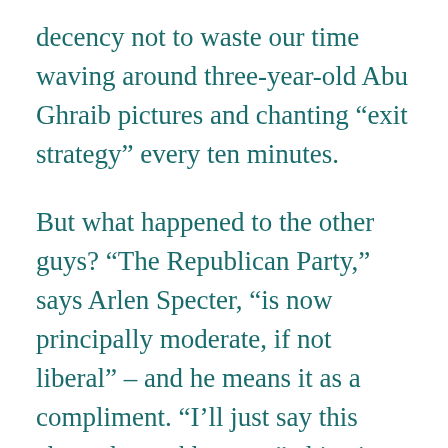decency not to waste our time waving around three-year-old Abu Ghraib pictures and chanting “exit strategy” every ten minutes.
But what happened to the other guys? “The Republican Party,” says Arlen Specter, “is now principally moderate, if not liberal” – and he means it as a compliment. “I’ll just say this about the porkbusters,” chips in Trent Lott. “I’m getting damn tired of hearing from them. They have been nothing